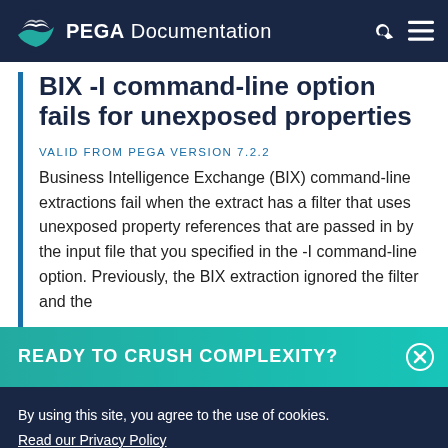PEGA Documentation
BIX -I command-line option fails for unexposed properties
VALID FROM PEGA VERSION 7.2.2
Business Intelligence Exchange (BIX) command-line extractions fail when the extract has a filter that uses unexposed property references that are passed in by the input file that you specified in the -I command-line option. Previously, the BIX extraction ignored the filter and the
READY TO CRUSH COMPLEXITY?
By using this site, you agree to the use of cookies.
Read our Privacy Policy
Accept and continue
About cookies